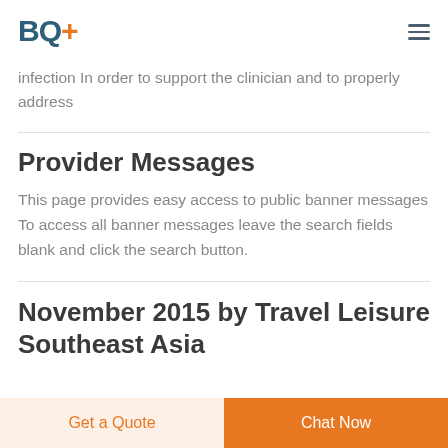BQ+
infection In order to support the clinician and to properly address
Provider Messages
This page provides easy access to public banner messages To access all banner messages leave the search fields blank and click the search button.
November 2015 by Travel Leisure Southeast Asia
Get a Quote
Chat Now